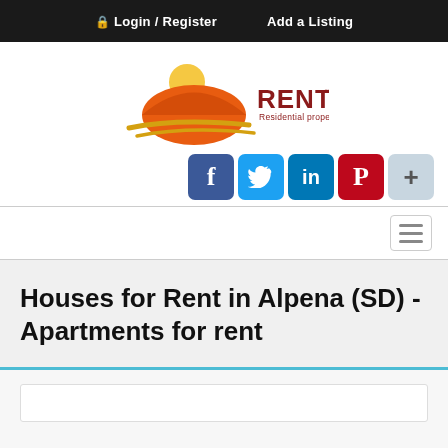Login / Register   Add a Listing
[Figure (logo): RentMLS logo - orange and yellow sun/hat graphic with RENTMLS text in dark red and tagline 'Residential property for Rent']
[Figure (infographic): Social media sharing buttons row: Facebook (blue f), Twitter (blue bird), LinkedIn (blue in), Pinterest (red P), and a light blue plus button]
[Figure (screenshot): Navigation/search bar with hamburger menu icon on right side]
Houses for Rent in Alpena (SD) - Apartments for rent